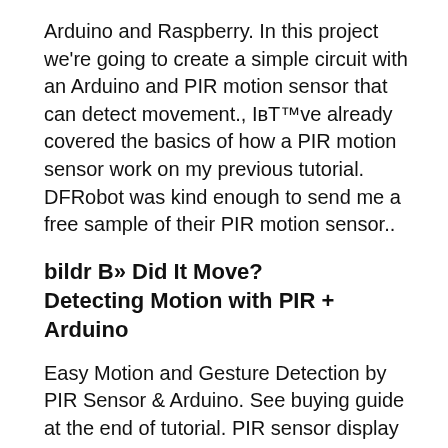Arduino and Raspberry. In this project we're going to create a simple circuit with an Arduino and PIR motion sensor that can detect movement., I've already covered the basics of how a PIR motion sensor work on my previous tutorial. DFRobot was kind enough to send me a free sample of their PIR motion sensor..
bildr B» Did It Move? Detecting Motion with PIR + Arduino
Easy Motion and Gesture Detection by PIR Sensor & Arduino. See buying guide at the end of tutorial. PIR sensor display in EasyIoT server. In EasyIoT server web